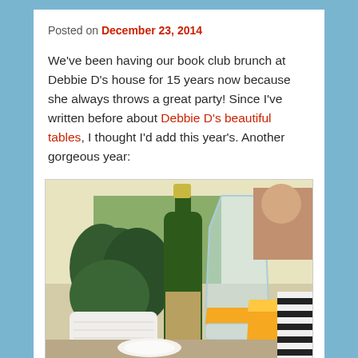Posted on December 23, 2014
We've been having our book club brunch at Debbie D's house for 15 years now because she always throws a great party! Since I've written before about Debbie D's beautiful tables, I thought I'd add this year's. Another gorgeous year:
[Figure (photo): Close-up photo of a brunch table setting with a green champagne bottle, a glass carafe filled with orange juice, a white textured ceramic pot with dark green leafy plant, plates, and other party items in the background.]